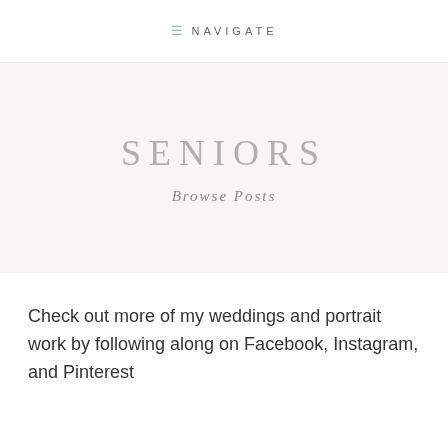≡ NAVIGATE
SENIORS
Browse Posts
Check out more of my weddings and portrait work by following along on Facebook, Instagram, and Pinterest